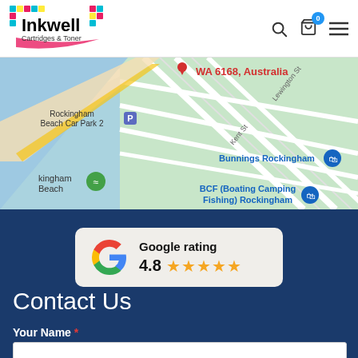Inkwell Cartridges & Toner — header with search, cart (0), and menu icons
[Figure (map): Google Maps screenshot showing Rockingham Beach area, WA 6168, Australia, with landmarks: Rockingham Beach Car Park 2, kingham Beach, Bunnings Rockingham, BCF (Boating Camping Fishing) Rockingham]
[Figure (infographic): Google rating card showing 4.8 stars out of 5]
Contact Us
Your Name *